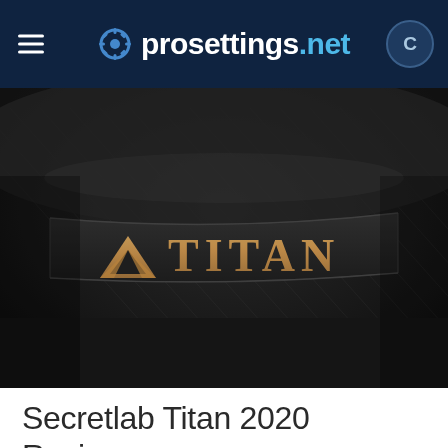prosettings.net
[Figure (photo): Close-up photo of a black leather gaming chair headrest with the TITAN logo embossed in gold lettering, showing the Secretlab Titan branding with a stylized arrow/triangle icon before the word TITAN]
Secretlab Titan 2020 Review